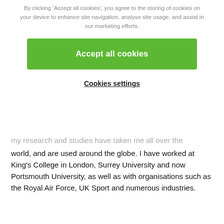By clicking 'Accept all cookies', you agree to the storing of cookies on your device to enhance site navigation, analyse site usage, and assist in our marketing efforts.
Accept all cookies
Cookies settings
my research and studies have taken me all over the world, and are used around the globe. I have worked at King's College in London, Surrey University and now Portsmouth University, as well as with organisations such as the Royal Air Force, UK Sport and numerous industries.